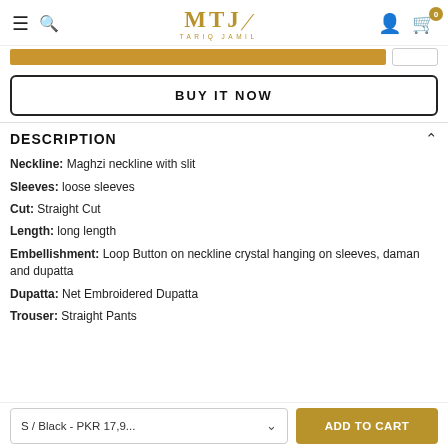MTJ TARIQ JAMIL — navigation header with logo, search, user, cart (0)
BUY IT NOW
DESCRIPTION
Neckline: Maghzi neckline with slit
Sleeves: loose sleeves
Cut: Straight Cut
Length: long length
Embellishment: Loop Button on neckline crystal hanging on sleeves, daman and dupatta
Dupatta: Net Embroidered Dupatta
Trouser: Straight Pants
S / Black - PKR 17,9...   ADD TO CART